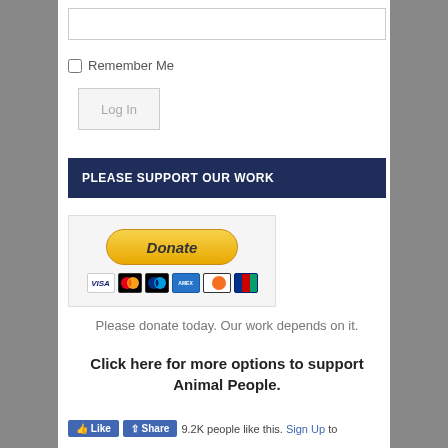[Figure (screenshot): Text input field (password/login field)]
Remember Me
[Figure (screenshot): Log In button]
PLEASE SUPPORT OUR WORK
[Figure (other): PayPal Donate button with credit card logos (VISA, Mastercard, PayPal, American Express, Discover, JCB)]
Please donate today. Our work depends on it.
Click here for more options to support Animal People.
9.2K people like this. Sign Up to